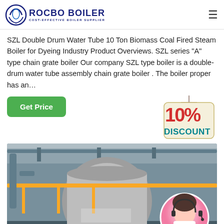ROCBO BOILER COST-EFFECTIVE BOILER SUPPLIER
SZL Double Drum Water Tube 10 Ton Biomass Coal Fired Steam Boiler for Dyeing Industry Product Overviews. SZL series "A" type chain grate boiler Our company SZL type boiler is a double-drum water tube assembly chain grate boiler . The boiler proper has an…
[Figure (other): Get Price green button and 10% DISCOUNT badge with hanger rope illustration]
[Figure (photo): Industrial boiler room with large cylindrical boiler, yellow pipe railing, and a customer support agent inset circle photo]